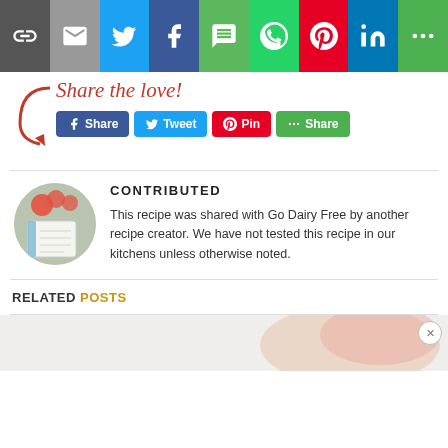[Figure (infographic): Social sharing icon bar with icons for link, email, Twitter, Facebook, SMS, WhatsApp, Pinterest, LinkedIn, and More]
Share the love!
[Figure (infographic): Social share buttons: Facebook Share, Tweet, Pinterest Pin, More Share]
CONTRIBUTED
This recipe was shared with Go Dairy Free by another recipe creator. We have not tested this recipe in our kitchens unless otherwise noted.
RELATED POSTS
[Figure (photo): Bottom strip showing partial food image]